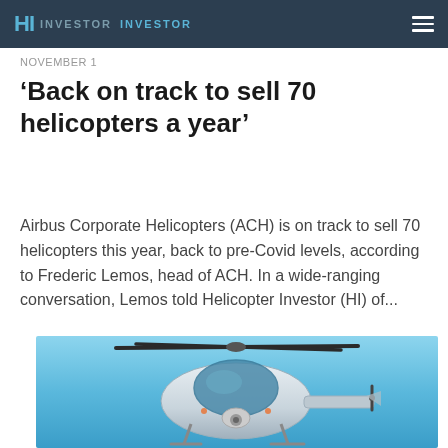HI INVESTOR  INVESTOR
NOVEMBER 1
‘Back on track to sell 70 helicopters a year’
Airbus Corporate Helicopters (ACH) is on track to sell 70 helicopters this year, back to pre-Covid levels, according to Frederic Lemos, head of ACH. In a wide-ranging conversation, Lemos told Helicopter Investor (HI) of...
[Figure (photo): Front/overhead view of a white Airbus corporate helicopter in flight against a blue sky background.]